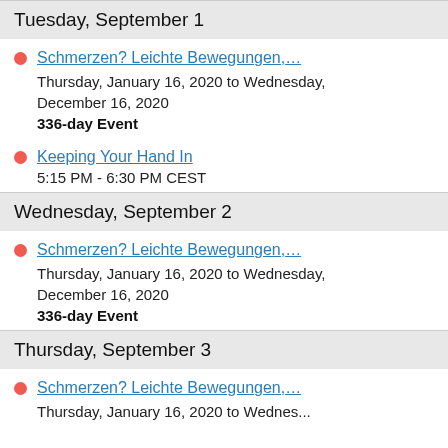Tuesday, September 1
Schmerzen? Leichte Bewegungen,... Thursday, January 16, 2020 to Wednesday, December 16, 2020 336-day Event
Keeping Your Hand In 5:15 PM - 6:30 PM CEST
Wednesday, September 2
Schmerzen? Leichte Bewegungen,... Thursday, January 16, 2020 to Wednesday, December 16, 2020 336-day Event
Thursday, September 3
Schmerzen? Leichte Bewegungen,...